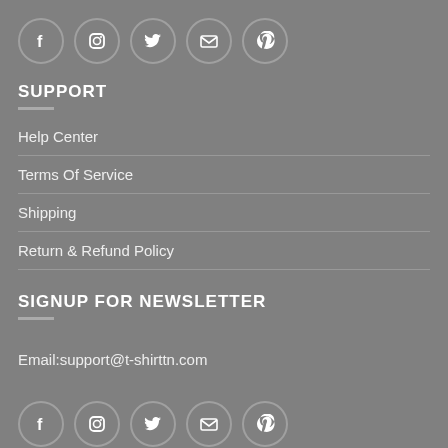[Figure (other): Row of 5 social media icon circles: Facebook, Instagram, Twitter, Email, Pinterest]
SUPPORT
Help Center
Terms Of Service
Shipping
Return & Refund Policy
SIGNUP FOR NEWSLETTER
Email:support@t-shirttn.com
[Figure (other): Row of 5 social media icon circles: Facebook, Instagram, Twitter, Email, Pinterest]